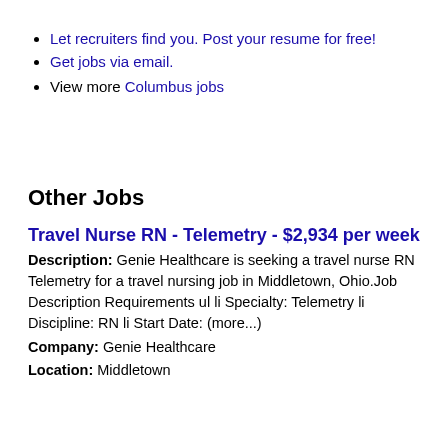Let recruiters find you. Post your resume for free!
Get jobs via email.
View more Columbus jobs
Other Jobs
Travel Nurse RN - Telemetry - $2,934 per week
Description: Genie Healthcare is seeking a travel nurse RN Telemetry for a travel nursing job in Middletown, Ohio.Job Description Requirements ul li Specialty: Telemetry li Discipline: RN li Start Date: (more...)
Company: Genie Healthcare
Location: Middletown